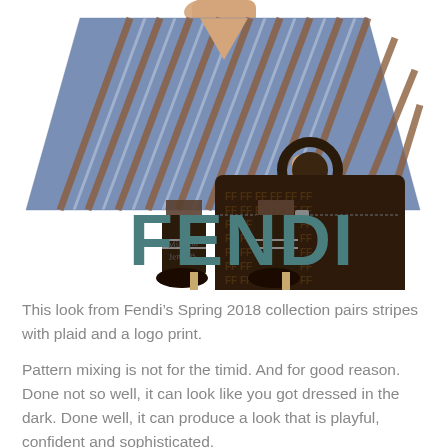[Figure (illustration): Fashion illustration of a figure wearing a blue and brown striped poncho/cape outfit with tall patterned dark boots, holding a large dark brown Fendi logo-print tote bag with a circular handle. The figure's head is cropped out. An artist signature reading 'Mikayla Jenkins' appears at lower left of the illustration. The word FENDI appears in large teal/dark teal letters at the lower right.]
This look from Fendi's Spring 2018 collection pairs stripes with plaid and a logo print.
Pattern mixing is not for the timid. And for good reason. Done not so well, it can look like you got dressed in the dark. Done well, it can produce a look that is playful, confident and sophisticated.